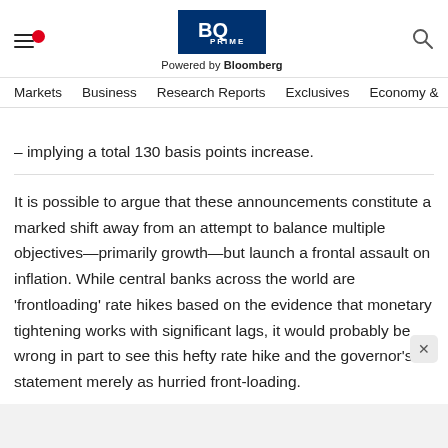BQ PRIME — Powered by Bloomberg | Markets | Business | Research Reports | Exclusives | Economy &
– implying a total 130 basis points increase.
It is possible to argue that these announcements constitute a marked shift away from an attempt to balance multiple objectives—primarily growth—but launch a frontal assault on inflation. While central banks across the world are 'frontloading' rate hikes based on the evidence that monetary tightening works with significant lags, it would probably be wrong in part to see this hefty rate hike and the governor's statement merely as hurried front-loading.